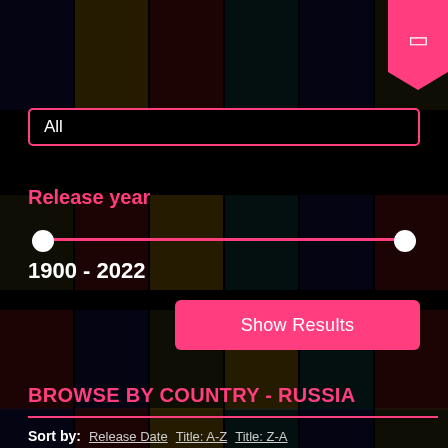[Figure (screenshot): Pink bookmark tab icon in top right corner]
All
Release year
1900 - 2022
Show Results
BROWSE BY COUNTRY - RUSSIA
Sort by: Release Date  Title: A-Z  Title: Z-A
The Cranes are Flying (1957)
Director: Mikhail Kalatozov
Starring: Tatiana Samoilova, Alexei Batalov, Vasili...